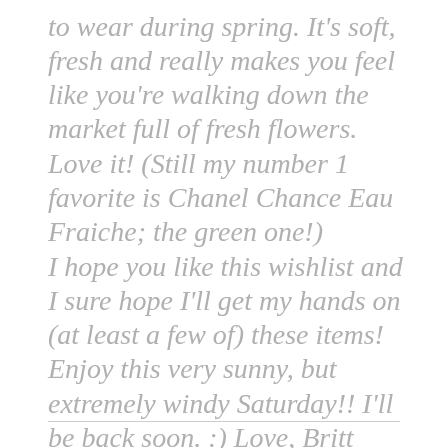to wear during spring. It's soft, fresh and really makes you feel like you're walking down the market full of fresh flowers. Love it! (Still my number 1 favorite is Chanel Chance Eau Fraiche; the green one!)
I hope you like this wishlist and I sure hope I'll get my hands on (at least a few of) these items! Enjoy this very sunny, but extremely windy Saturday!! I'll be back soon. :) Love, Britt